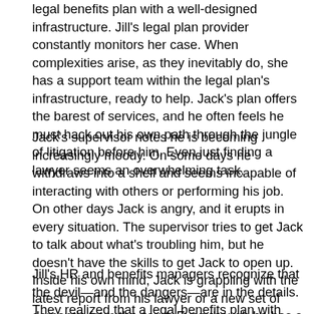legal benefits plan with a well-designed infrastructure. Jill's legal plan provider constantly monitors her case. When complexities arise, as they inevitably do, she has a support team within the legal plan's infrastructure, ready to help. Jack's plan offers the barest of services, and he often feels he must hack out his own path through the jungle of litigation before him. Even just finding a lawyer seems an overwhelming task.
Jack's supervisor notes he is becoming increasingly moody. On some days he withdraws into a shell and seems incapable of interacting with others or performing his job. On other days Jack is angry, and it erupts in every situation. The supervisor tries to get Jack to talk about what's troubling him, but he doesn't have the skills to get Jack to open up. Inside his own mind, Jack is grappling with the latest report from his lawyer or a new set of demands from the court. Even though he has a legal benefit plan that has provided minimal support, Jack is still enmeshed in the complexities of litigation, and he doesn't know where to go to get help with the subtleties.
Jill's HR and benefits managers recognize that the devil—and the dangers—are in the details. They realized that a legal benefits plan with rich infrastructure would anticipate the stress-inducing subtleties connected with litigation and would provide services to